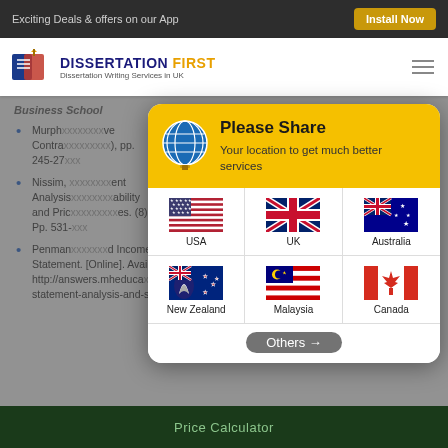Exciting Deals & offers on our App | Install Now
[Figure (logo): Dissertation First logo with book icon]
Business School
Murphy... ve Contracts..., pp. 245-27...
[Figure (screenshot): Please Share location modal with globe icon and country flags: USA, UK, Australia, New Zealand, Malaysia, Canada, Others]
Nissim, ... ent Analysis... ability and Pric... es. (8). Pp. 531-...
Penman... d Income Statement. [Online]. Available through: < http://answers.mheducation/accounting/financial-statement-analysis-and-security-valuation/analysis-balance-
Price Calculator